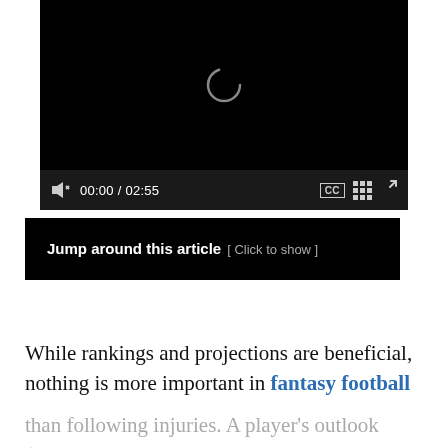[Figure (screenshot): A video player with a black background, a loading spinner icon in the center, a progress bar, and controls showing mute icon, time 00:00 / 02:55, CC button, grid/chapters button, and fullscreen button.]
Jump around this article  [ Click to show ]
While rankings and projections are beneficial, nothing is more important in fantasy football than following injuries. A player’s outlook (and